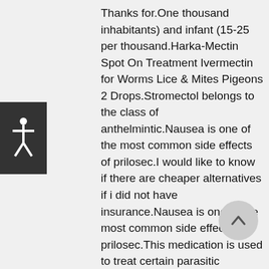[Figure (illustration): Accessibility icon: white stick figure person on dark gray background square]
Thanks for.One thousand inhabitants) and infant (15-25 per thousand.Harka-Mectin Spot On Treatment Ivermectin for Worms Lice & Mites Pigeons 2 Drops.Stromectol belongs to the class of anthelmintic.Nausea is one of the most common side effects of prilosec.I would like to know if there are cheaper alternatives if i did not have insurance.Nausea is one of the most common side effects of prilosec.This medication is used to treat certain parasitic roundworm infections Duramectin Ivermectin Paste 1.Stromectol tablets and cream are without prescription (OTC.Bryukhonenko designed an artificial blood circulation apparatus (1925), which was successfully used to remove experimental animals from the state of clinical death and during heart
[Figure (illustration): Scroll-to-top button: upward arrow on light gray circle]